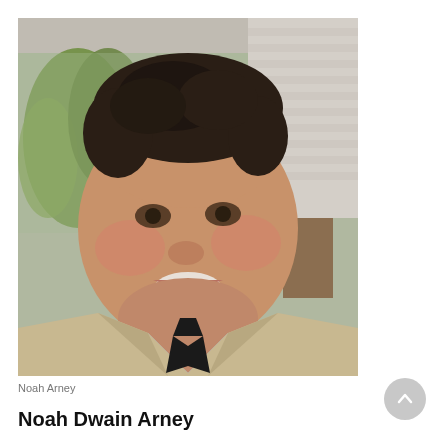[Figure (photo): Headshot of a smiling man in a tan/khaki blazer with a light blue dress shirt and black tie. He has dark curly hair. The background shows trees and a building exterior.]
Noah Arney
Noah Dwain Arney